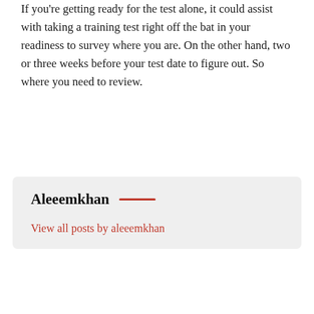If you're getting ready for the test alone, it could assist with taking a training test right off the bat in your readiness to survey where you are. On the other hand, two or three weeks before your test date to figure out. So where you need to review.
Aleeemkhan
View all posts by aleeemkhan
Posted in  Education  Tagged  CompTIA Security+ Course,  Prince2 training melbourne
Previous article
Gifts for new parents that
Next article
Must be known of